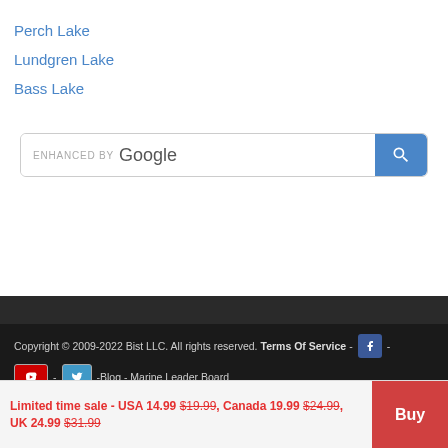Perch Lake
Lundgren Lake
Bass Lake
[Figure (screenshot): Enhanced by Google search box with blue search button and magnifying glass icon]
Copyright © 2009-2022 Bist LLC. All rights reserved. Terms Of Service - [Facebook icon] - [YouTube icon] - [Twitter icon] -Blog - Marine Leader Board
"NOAA Charts the NOAA Camplines are registered trademarks of the National..."
Limited time sale - USA 14.99 $19.99, Canada 19.99 $24.99, UK 24.99 $31.99